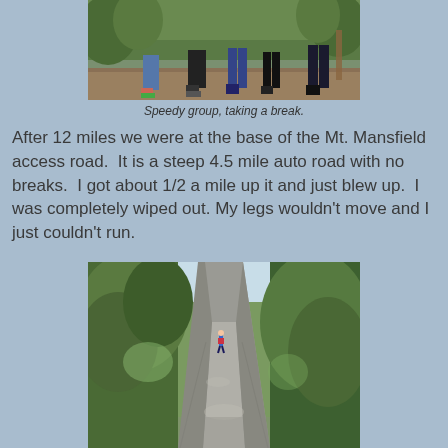[Figure (photo): Group of runners/hikers standing on a dirt trail in a wooded area, showing their legs and lower bodies, with trees and foliage visible in background.]
Speedy group, taking a break.
After 12 miles we were at the base of the Mt. Mansfield access road.  It is a steep 4.5 mile auto road with no breaks.  I got about 1/2 a mile up it and just blew up.  I was completely wiped out. My legs wouldn't move and I just couldn't run.
[Figure (photo): A lone runner seen from behind on a steep paved/gravel road lined with green trees and foliage on both sides, perspective going uphill into the distance.]